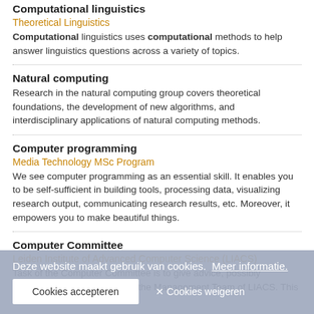Computational linguistics
Theoretical Linguistics
Computational linguistics uses computational methods to help answer linguistics questions across a variety of topics.
Natural computing
Research in the natural computing group covers theoretical foundations, the development of new algorithms, and interdisciplinary applications of natural computing methods.
Computer programming
Media Technology MSc Program
We see computer programming as an essential skill. It enables you to be self-sufficient in building tools, processing data, visualizing research output, communicating research results, etc. Moreover, it empowers you to make beautiful things.
Computer Committee
Leiden Institute of Advanced Computer Science (LIACS)
Task of the Computer Committee is to give advice, possibly unsolicited, on ICT matters to the Management Team of LIACS. This includes advice
Deze website maakt gebruik van cookies. Meer informatie.
Cookies accepteren
✕ Cookies weigeren